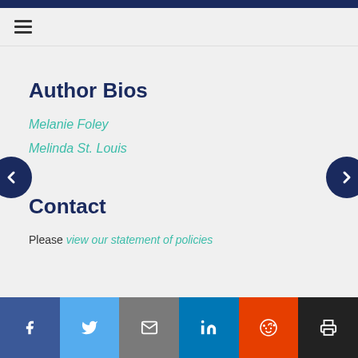≡ (hamburger menu)
Author Bios
Melanie Foley
Melinda St. Louis
Contact
Please view our statement of policies